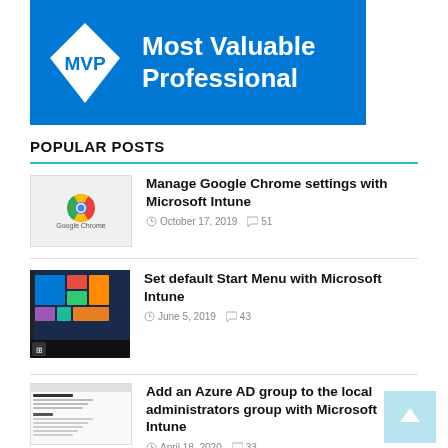[Figure (logo): Microsoft MVP Most Valuable Professional logo — blue banner with white diamond MVP logo and white text 'Most Valuable Professional']
POPULAR POSTS
Manage Google Chrome settings with Microsoft Intune — October 17, 2019 — 51 comments
Set default Start Menu with Microsoft Intune — June 5, 2019 — 43 comments
Add an Azure AD group to the local administrators group with Microsoft Intune — April 18, 2020 — 33 comments